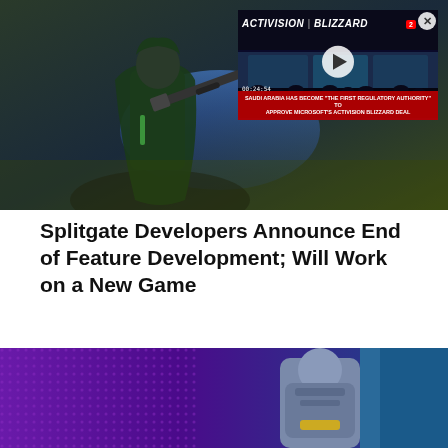[Figure (screenshot): Game screenshot showing a character with a weapon on the left, with a video overlay on the right showing Activision Blizzard branding and a news ticker about Saudi Arabia approving Microsoft's Activision Blizzard deal]
Splitgate Developers Announce End of Feature Development; Will Work on a New Game
[Figure (screenshot): Bottom portion showing another game image with a purple/blue armored character, and an advertisement banner for Seamless with ORDER NOW button and pizza image]